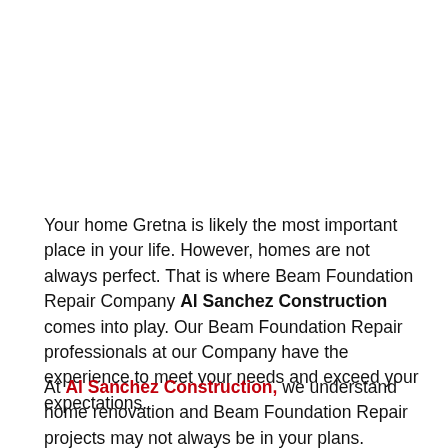Your home Gretna is likely the most important place in your life. However, homes are not always perfect. That is where Beam Foundation Repair Company Al Sanchez Construction comes into play. Our Beam Foundation Repair professionals at our Company have the experience to meet your needs and exceed your expectations.
At Al Sanchez Construction, we understand home renovation and Beam Foundation Repair projects may not always be in your plans. Because of this, our